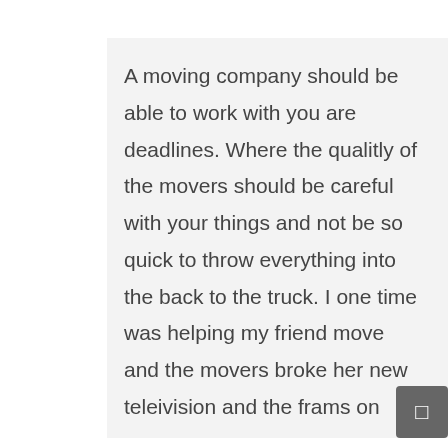A moving company should be able to work with you are deadlines. Where the qualitly of the movers should be careful with your things and not be so quick to throw everything into the back to the truck. I one time was helping my friend move and the movers broke her new teleivision and the frams on